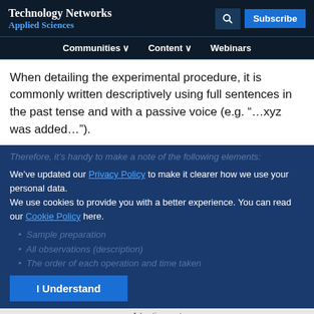Technology Networks Applied Sciences
When detailing the experimental procedure, it is commonly written descriptively using full sentences in the past tense and with a passive voice (e.g. “…xyz was added…”).
We’ve updated our Privacy Policy to make it clearer how we use your personal data.
We use cookies to provide you with a better experience. You can read our Cookie Policy here.
Therefore, it’s handy to make a note of the following elements:
Sample preparation
All observations (description)
The order of each operation and time taken
Advertisement
[Figure (photo): ThermoFisher Scientific advertisement: scientists in lab coats. Text: Need to provide repeatable and reliable results?]